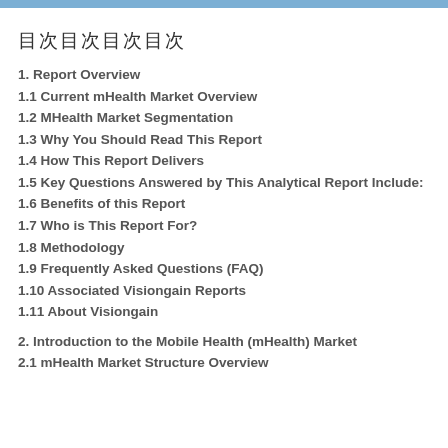目次
1. Report Overview
1.1 Current mHealth Market Overview
1.2 MHealth Market Segmentation
1.3 Why You Should Read This Report
1.4 How This Report Delivers
1.5 Key Questions Answered by This Analytical Report Include:
1.6 Benefits of this Report
1.7 Who is This Report For?
1.8 Methodology
1.9 Frequently Asked Questions (FAQ)
1.10 Associated Visiongain Reports
1.11 About Visiongain
2. Introduction to the Mobile Health (mHealth) Market
2.1 mHealth Market Structure Overview